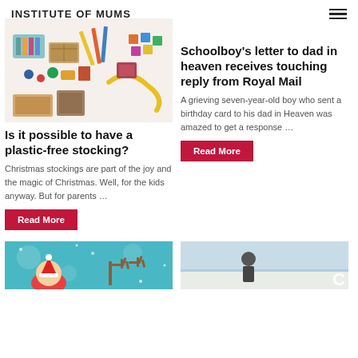INSTITUTE OF MUMS
[Figure (photo): Craft supplies and art materials arranged together including paints, pencils, and various small items]
Is it possible to have a plastic-free stocking?
Christmas stockings are part of the joy and the magic of Christmas. Well, for the kids anyway. But for parents ...
Read More
Schoolboy's letter to dad in heaven receives touching reply from Royal Mail
A grieving seven-year-old boy who sent a birthday card to his dad in Heaven was amazed to get a response ...
Read More
[Figure (photo): Christmas themed image with a child in a Santa hat and reindeer antlers on teal background]
[Figure (photo): Outdoor scene with a person against a sky background]